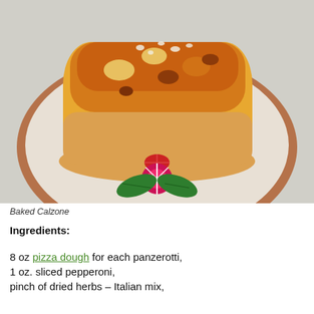[Figure (photo): A baked calzone on a round brown-rimmed plate, golden-brown on top with cheese, garnished with a carved radish rose and green leaves.]
Baked Calzone
Ingredients:
8 oz pizza dough for each panzerotti,
1 oz. sliced pepperoni,
pinch of dried herbs – Italian mix,